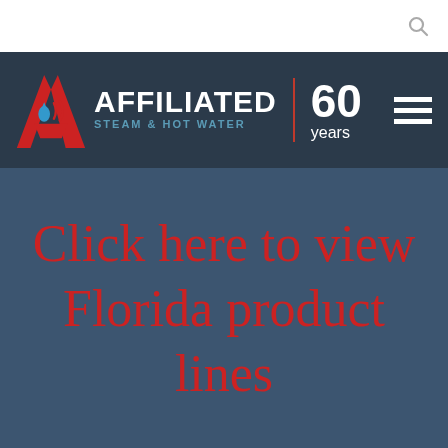[Figure (logo): Affiliated Steam & Hot Water logo with 60 years badge and navigation hamburger menu]
Click here to view Florida product lines